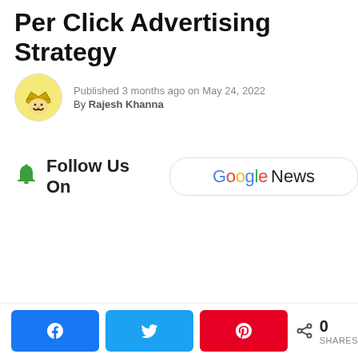Per Click Advertising Strategy
Published 3 months ago on May 24, 2022
By Rajesh Khanna
[Figure (infographic): Follow Us On Google News button with bell icon]
[Figure (infographic): Social share bar: Facebook, Twitter, Pinterest buttons with 0 SHARES count]